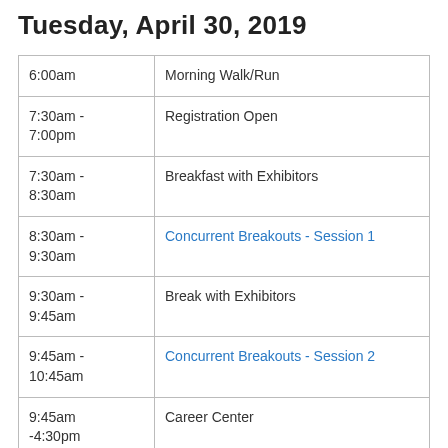Tuesday, April 30, 2019
| Time | Event |
| --- | --- |
| 6:00am | Morning Walk/Run |
| 7:30am - 7:00pm | Registration Open |
| 7:30am - 8:30am | Breakfast with Exhibitors |
| 8:30am - 9:30am | Concurrent Breakouts - Session 1 |
| 9:30am - 9:45am | Break with Exhibitors |
| 9:45am - 10:45am | Concurrent Breakouts - Session 2 |
| 9:45am -4:30pm | Career Center |